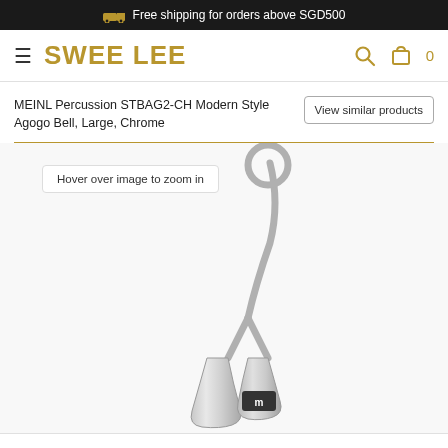Free shipping for orders above SGD500
SWEE LEE
MEINL Percussion STBAG2-CH Modern Style Agogo Bell, Large, Chrome
View similar products
Hover over image to zoom in
[Figure (photo): Chrome agogo bell (MEINL STBAG2-CH) showing two conical chrome bells connected by a curved handle with a circular loop at the top]